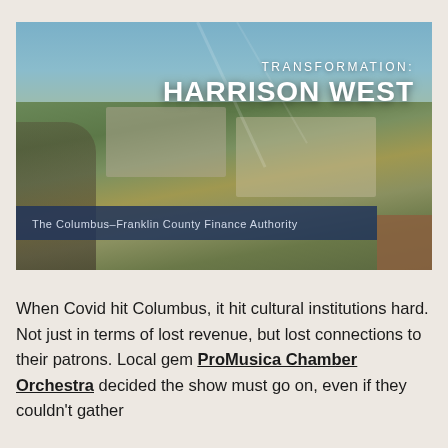[Figure (photo): Aerial drone photo of Harrison West neighborhood in Columbus, Ohio showing urban development, roads, trees, and construction. Overlay text reads 'TRANSFORMATION: HARRISON WEST'. Banner at bottom reads 'The Columbus–Franklin County Finance Authority'.]
When Covid hit Columbus, it hit cultural institutions hard. Not just in terms of lost revenue, but lost connections to their patrons. Local gem ProMusica Chamber Orchestra decided the show must go on, even if they couldn't gather